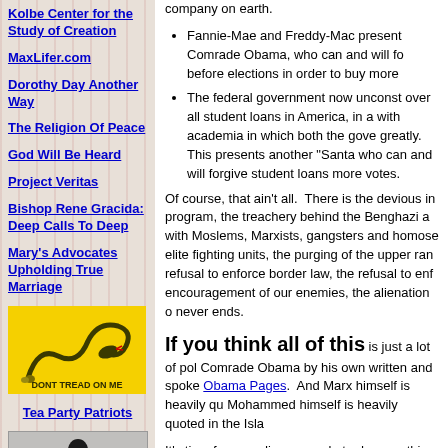Kolbe Center for the Study of Creation
MaxLifer.com
Dorothy Day Another Way
The Religion Of Peace
God Will Be Heard
Project Veritas
Bishop Rene Gracida: Deep Calls To Deep
Mary's Advocates Upholding True Marriage
[Figure (illustration): Gadsden flag illustration with snake and text 'DONT TREAD ON ME' on yellow background]
Tea Party Patriots
[Figure (illustration): Dark silhouette illustration of a person]
company on earth.
Fannie-Mae and Freddy-Mac present Comrade Obama, who can and will for before elections in order to buy more
The federal government now unconst over all student loans in America, in a with academia in which both the gove greatly. This presents another "Santa who can and will forgive student loans more votes.
Of course, that ain't all. There is the devious in program, the treachery behind the Benghazi a with Moslems, Marxists, gangsters and homose elite fighting units, the purging of the upper ran refusal to enforce border law, the refusal to enf encouragement of our enemies, the alienation o never ends.
If you think all of this is just a lot of pol Comrade Obama by his own written and spoke Obama Pages. And Marx himself is heavily qu Mohammed himself is heavily quoted in the Isla
It's time for us ordinary people to do something
It's time for vowed religious